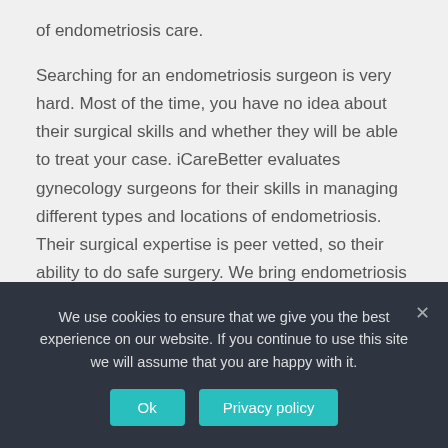of endometriosis care.
Searching for an endometriosis surgeon is very hard. Most of the time, you have no idea about their surgical skills and whether they will be able to treat your case. iCareBetter evaluates gynecology surgeons for their skills in managing different types and locations of endometriosis. Their surgical expertise is peer vetted, so their ability to do safe surgery. We bring endometriosis specialists closer to patients.
What is iCareBetter's mission?
We use cookies to ensure that we give you the best experience on our website. If you continue to use this site we will assume that you are happy with it.